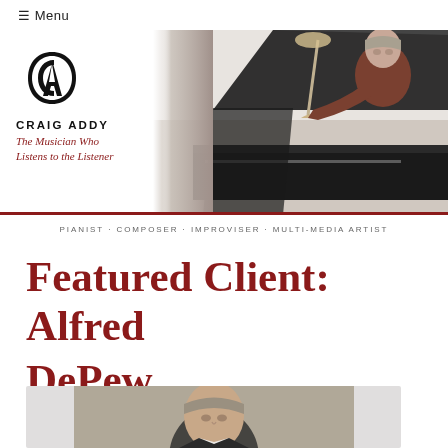☰ Menu
[Figure (logo): Craig Addy logo with stylized 'CA' monogram in black, name 'CRAIG ADDY' in bold caps, tagline 'The Musician Who Listens to the Listener' in dark red italic, and a pianist playing grand piano photo in banner]
PIANIST · COMPOSER · IMPROVISER · MULTI-MEDIA ARTIST
Featured Client: Alfred DePew
[Figure (photo): Portrait photo of Alfred DePew, a middle-aged man with gray-brown hair, on light gray background]